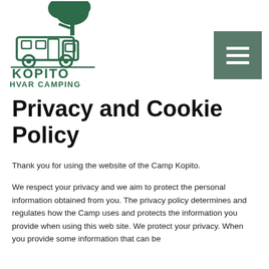[Figure (logo): Kopito Hvar Camping logo: green illustration of a camper van under a tree with bold text KOPITO above and HVAR CAMPING below]
Privacy and Cookie Policy
Thank you for using the website of the Camp Kopito.
We respect your privacy and we aim to protect the personal information obtained from you. The privacy policy determines and regulates how the Camp uses and protects the information you provide when using this web site. We protect your privacy. When you provide some information that can be